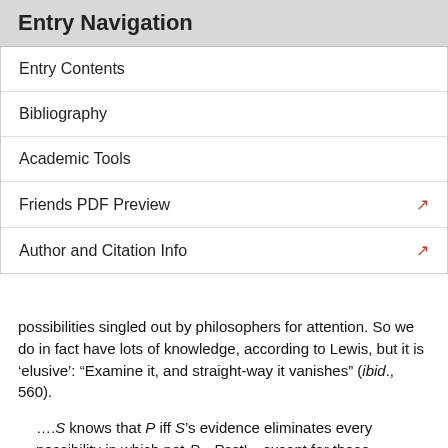Entry Navigation
Entry Contents
Bibliography
Academic Tools
Friends PDF Preview
Author and Citation Info
possibilities singled out by philosophers for attention. So we do in fact have lots of knowledge, according to Lewis, but it is 'elusive': “Examine it, and straight-way it vanishes” (ibid., 560).
……S knows that P iff S’s evidence eliminates every possibility in which not-P—Psst!—except for those possibilities that we are properly ignoring. That ‘psst’ marks an attempt to do the impossible—to mention that which remains unmentioned. (Ibid., 566)[9]